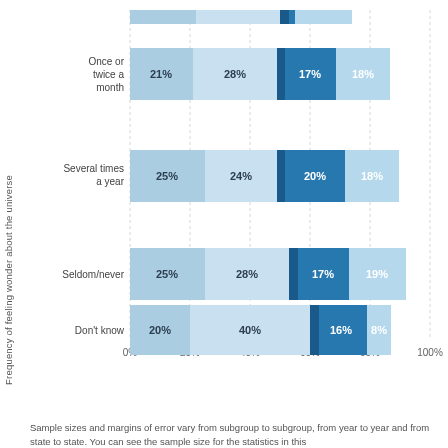[Figure (stacked-bar-chart): Frequency of feeling wonder about the universe]
Sample sizes and margins of error vary from subgroup to subgroup, from year to year and from state to state. You can see the sample size for the statistics in this